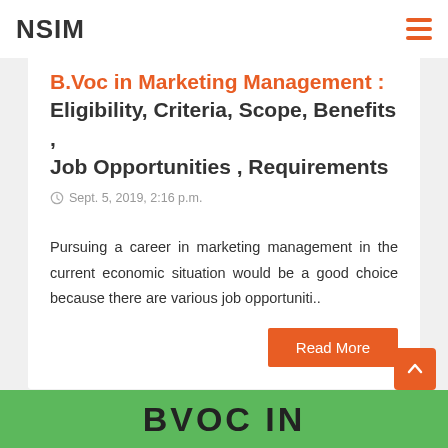NSIM
B.Voc in Marketing Management : Eligibility, Criteria, Scope, Benefits , Job Opportunities , Requirements
Sept. 5, 2019, 2:16 p.m.
Pursuing a career in marketing management in the current economic situation would be a good choice because there are various job opportuniti..
Read More
BVOC IN